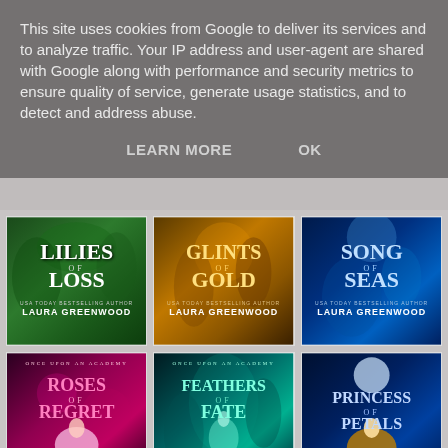This site uses cookies from Google to deliver its services and to analyze traffic. Your IP address and user-agent are shared with Google along with performance and security metrics to ensure quality of service, generate usage statistics, and to detect and address abuse.
LEARN MORE   OK
[Figure (illustration): Book cover: Lilies of Loss by Laura Greenwood (USA Today Bestselling Author), green forest background]
[Figure (illustration): Book cover: Glints of Gold by Laura Greenwood (USA Today Bestselling Author), amber golden forest background]
[Figure (illustration): Book cover: Song of Seas by Laura Greenwood (USA Today Bestselling Author), blue ocean background]
[Figure (illustration): Book cover: Roses of Regret by Laura Greenwood (USA Today Bestselling Author), Once Upon an Academy series, deep red/pink background with woman in ball gown]
[Figure (illustration): Book cover: Feathers of Fate by Laura Greenwood (USA Today Bestselling Author), Once Upon an Academy series, teal forest background with woman]
[Figure (illustration): Book cover: Princess of Petals, blue moonlit background with woman in golden dress]